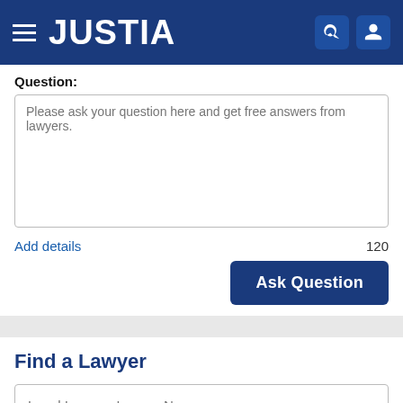JUSTIA
Question:
Please ask your question here and get free answers from lawyers.
Add details
120
Ask Question
Find a Lawyer
Legal Issue or Lawyer Name
Illinois
Search